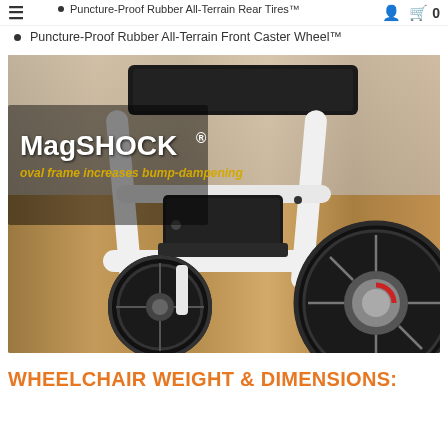≡  ⚲  🛒 0
Puncture-Proof Rubber All-Terrain Rear Tires™
Puncture-Proof Rubber All-Terrain Front Caster Wheel™
[Figure (photo): Photo of a wheelchair close-up showing white oval MagSHOCK frame with black rubber all-terrain front caster wheel and rear tire on a wooden floor background. Overlaid text reads 'MagSHOCK® oval frame increases bump-dampening' in white and gold/yellow italic text.]
WHEELCHAIR WEIGHT & DIMENSIONS: